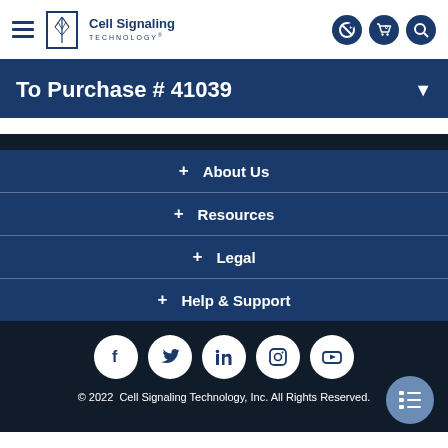Cell Signaling Technology
To Purchase # 41039
+ About Us
+ Resources
+ Legal
+ Help & Support
[Figure (other): Social media icons: Facebook, Twitter, LinkedIn, Instagram, YouTube]
© 2022 Cell Signaling Technology, Inc. All Rights Reserved.